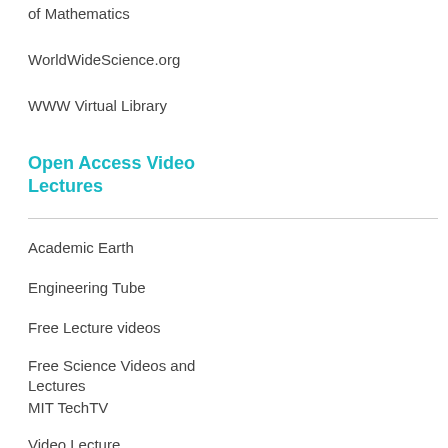of Mathematics
WorldWideScience.org
WWW Virtual Library
Open Access Video Lectures
Academic Earth
Engineering Tube
Free Lecture videos
Free Science Videos and Lectures
MIT TechTV
Video Lecture
Academic Research